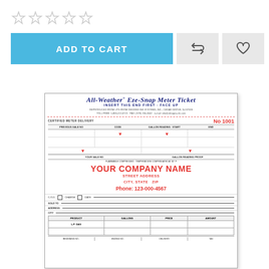[Figure (other): Five empty star rating icons]
[Figure (screenshot): E-commerce product page section showing ADD TO CART button in blue, a repeat/refresh icon button, and a heart/wishlist icon button]
[Figure (other): Preview of All-Weather Eze-Snap Meter Ticket form showing the ticket template with company name placeholder (YOUR COMPANY NAME), address, phone, and meter delivery table fields including PRODUCT, GALLONS, PRICE, AMOUNT columns with L.P. GAS entry, No 1001 serial number, and various form fields]